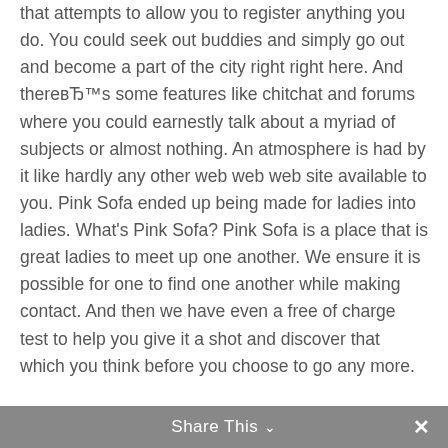that attempts to allow you to register anything you do. You could seek out buddies and simply go out and become a part of the city right right here. And thereвЂ™s some features like chitchat and forums where you could earnestly talk about a myriad of subjects or almost nothing. An atmosphere is had by it like hardly any other web web web site available to you. Pink Sofa ended up being made for ladies into ladies. What's Pink Sofa? Pink Sofa is a place that is great ladies to meet up one another. We ensure it is possible for one to find one another while making contact. And then we have even a free of charge test to help you give it a shot and discover that which you think before you choose to go any more.
Share This ∨  ✕